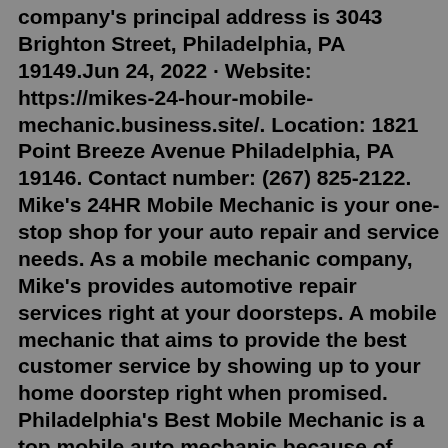company's principal address is 3043 Brighton Street, Philadelphia, PA 19149.Jun 24, 2022 · Website: https://mikes-24-hour-mobile-mechanic.business.site/. Location: 1821 Point Breeze Avenue Philadelphia, PA 19146. Contact number: (267) 825-2122. Mike's 24HR Mobile Mechanic is your one-stop shop for your auto repair and service needs. As a mobile mechanic company, Mike's provides automotive repair services right at your doorsteps. A mobile mechanic that aims to provide the best customer service by showing up to your home doorstep right when promised. Philadelphia's Best Mobile Mechanic is a top mobile auto mechanic because of their expertise in all types of vehicles, including cars, trucks, and motorcycles; Providing expert car repair services for years Our Philadelphia mobile mechanics offer clutch replacement service all around Philadelphia. Let us know how we can help you. Our AMC is basically terrible by AMCs own standards. I remember when I saw topgun the picture was off the bottom of screen. Other AMC in Indiana have the high quality seats...